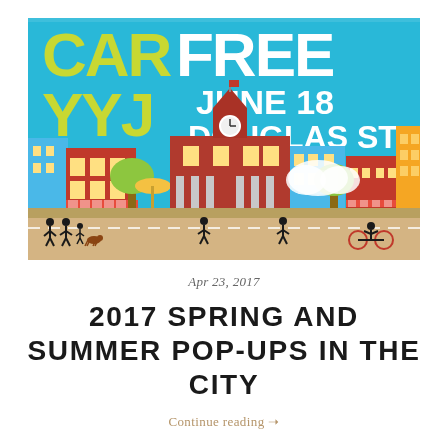[Figure (illustration): Car Free YYJ event poster illustration showing cartoon city skyline with pedestrians and cyclists on Douglas Street, June 18]
Apr 23, 2017
2017 SPRING AND SUMMER POP-UPS IN THE CITY
Continue reading →